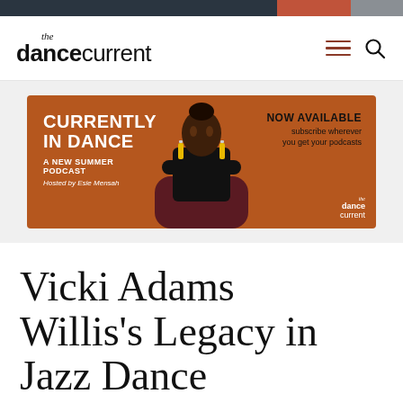the dance current
[Figure (photo): Advertisement banner for 'Currently in Dance: A New Summer Podcast' hosted by Esie Mensah, now available on The Dance Current, featuring a woman seated in a burgundy chair against a rust/orange background.]
Vicki Adams Willis's Legacy in Jazz Dance